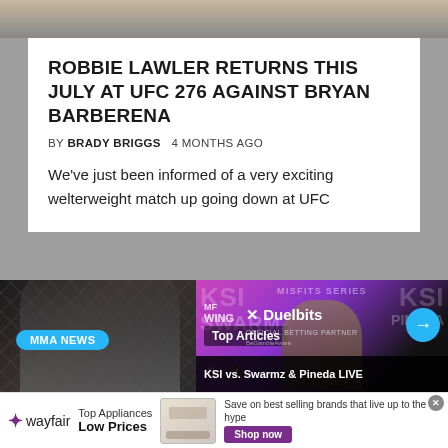[Figure (photo): Top portion of a photo showing two MMA fighters]
ROBBIE LAWLER RETURNS THIS JULY AT UFC 276 AGAINST BRYAN BARBERENA
BY BRADY BRIGGS   4 MONTHS AGO
We've just been informed of a very exciting welterweight match up going down at UFC
[Figure (photo): MMA NEWS card showing a fighter in dark background with chain-link fence]
[Figure (screenshot): Top Articles overlay showing KSI vs Swarmz & Pineda LIVE with Duelbits betting partner branding]
[Figure (infographic): Wayfair advertisement: Top Appliances Low Prices with Shop now button]